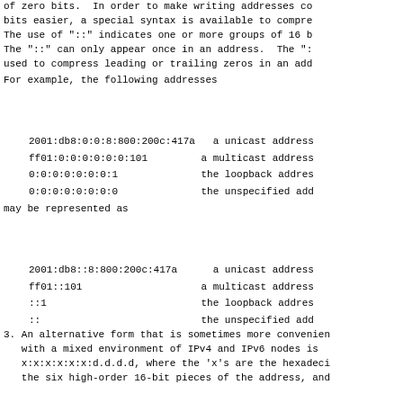of zero bits.  In order to make writing addresses co bits easier, a special syntax is available to compre The use of "::" indicates one or more groups of 16 b The "::" can only appear once in an address.  The ": used to compress leading or trailing zeros in an add
For example, the following addresses
2001:db8:0:0:8:800:200c:417a   a unicast address
ff01:0:0:0:0:0:0:101         a multicast address
0:0:0:0:0:0:0:1              the loopback addres
0:0:0:0:0:0:0:0              the unspecified add
may be represented as
2001:db8::8:800:200c:417a      a unicast address
ff01::101                    a multicast address
::1                          the loopback addres
::                           the unspecified add
3. An alternative form that is sometimes more convenien with a mixed environment of IPv4 and IPv6 nodes is x:x:x:x:x:x:d.d.d.d, where the 'x's are the hexadeci the six high-order 16-bit pieces of the address, and